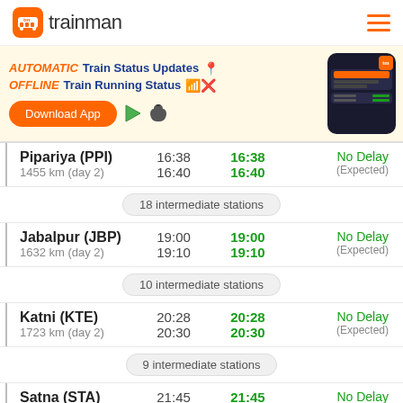tm trainman
[Figure (screenshot): Trainman app advertisement banner with 'AUTOMATIC Train Status Updates' and 'OFFLINE Train Running Status' text, Download App button, and app store icons alongside a phone screenshot]
| Station | Scheduled | Actual | Status |
| --- | --- | --- | --- |
| Pipariya (PPI)
1455 km (day 2) | 16:38
16:40 | 16:38
16:40 | No Delay
(Expected) |
| 18 intermediate stations |  |  |  |
| Jabalpur (JBP)
1632 km (day 2) | 19:00
19:10 | 19:00
19:10 | No Delay
(Expected) |
| 10 intermediate stations |  |  |  |
| Katni (KTE)
1723 km (day 2) | 20:28
20:30 | 20:28
20:30 | No Delay
(Expected) |
| 9 intermediate stations |  |  |  |
| Satna (STA) | 21:45 | 21:45 | No Delay |